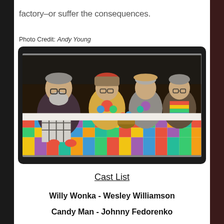factory–or suffer the consequences.
Photo Credit: Andy Young
[Figure (photo): Theatre production photo showing four actors in costume sitting on a bed covered with a colorful patchwork quilt. The leftmost actor has a grey beard and wears plaid pants. Three other actors sit beside him, all in costume with hats and colorful scarves. They appear to be in a stage production, likely Charlie and the Chocolate Factory.]
Cast List
Willy Wonka - Wesley Williamson
Candy Man - Johnny Fedorenko